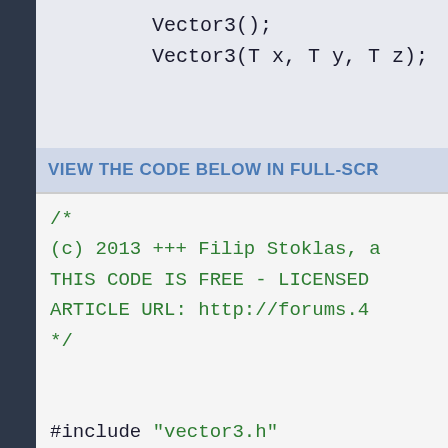Vector3();
        Vector3(T x, T y, T z);
VIEW THE CODE BELOW IN FULL-SCR
/*
(c) 2013 +++ Filip Stoklas, a
THIS CODE IS FREE - LICENSED
ARTICLE URL: http://forums.4
*/


#include "vector3.h"


template <typename T>
inline Vector3<T>::Vector3()